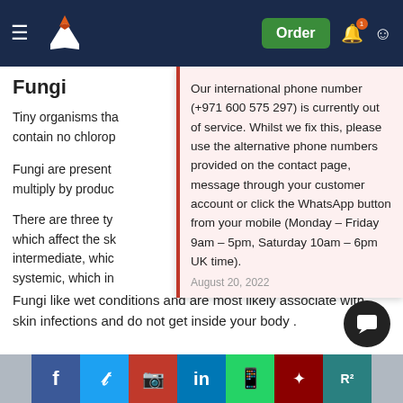Fungi
Tiny organisms tha... contain no chlorop...
Fungi are present... multiply by produc...
There are three ty... which affect the sk... intermediate, whic... systemic, which in...
Our international phone number (+971 600 575 297) is currently out of service. Whilst we fix this, please use the alternative phone numbers provided on the contact page, message through your customer account or click the WhatsApp button from your mobile (Monday – Friday 9am – 5pm, Saturday 10am – 6pm UK time).
August 20, 2022
Fungi like wet conditions and are most likely associate with skin infections and do not get inside your body .
An example of common fungus is the yeast
Fungi are ... otics.